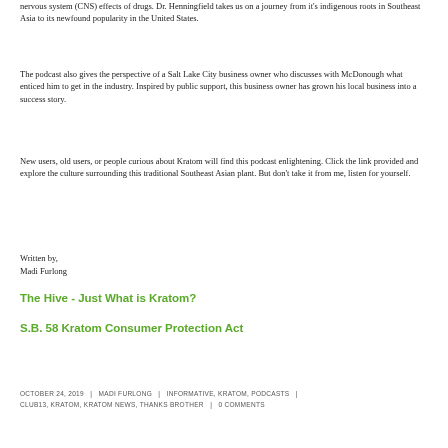nervous system (CNS) effects of drugs. Dr. Henningfield takes us on a journey from it's indigenous roots in Southeast Asia to its newfound popularity in the United States.
The podcast also gives the perspective of a Salt Lake City business owner who discusses with McDonough what enticed him to get in the industry. Inspired by public support, this business owner has grown his local business into a success story.
New users, old users, or people curious about Kratom will find this podcast enlightening. Click the link provided and explore the culture surrounding this traditional Southeast Asian plant. But don't take it from me, listen for yourself.
Written by,
Madi Furlong
The Hive - Just What is Kratom?
S.B. 58 Kratom Consumer Protection Act
OCTOBER 24, 2019  |  MADI FURLONG  |  INFORMATIVE, KRATOM, PODCASTS  |  CLUB13, KRATOM, KRATOM NEWS, THANKS BROTHER  |  0 COMMENTS